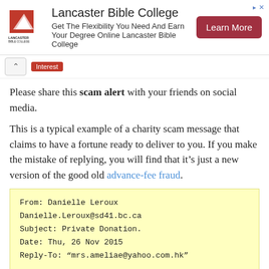[Figure (screenshot): Lancaster Bible College advertisement banner with logo, tagline 'Get The Flexibility You Need And Earn Your Degree Online Lancaster Bible College', and a red 'Learn More' button]
Please share this scam alert with your friends on social media.
This is a typical example of a charity scam message that claims to have a fortune ready to deliver to you. If you make the mistake of replying, you will find that it’s just a new version of the good old advance-fee fraud.
From: Danielle Leroux
Danielle.Leroux@sd41.bc.ca
Subject: Private Donation.
Date: Thu, 26 Nov 2015
Reply-To: “mrs.ameliae@yahoo.com.hk”

Dearest,